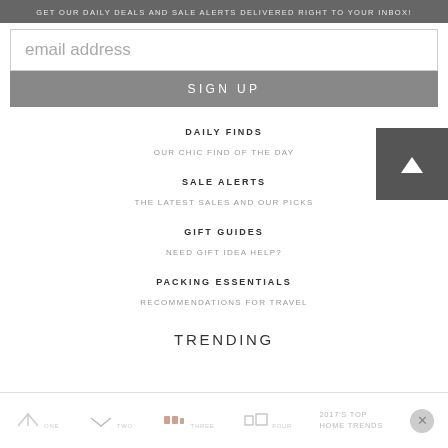GET OUR DAILY DEALS AND SALE ALERTS DELIVERED RIGHT TO YOUR INBOX!
[Figure (screenshot): Email address input field with placeholder text 'email address']
SIGN UP
DAILY FINDS
OUR CHIC FIND OF THE DAY
SALE ALERTS
THE LATEST SALES AND OUR PICKS
GIFT GUIDES
NEED GIFT IDEA HELP?
PACKING ESSENTIALS
RECOMMENDATIONS FOR TRAVEL
TRENDING
2017'S TOP HOME TRENDS